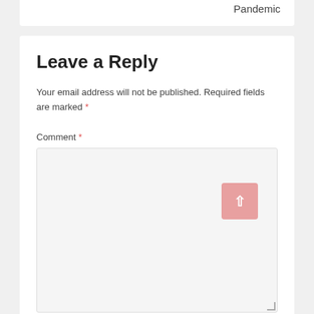Pandemic
Leave a Reply
Your email address will not be published. Required fields are marked *
Comment *
Name *